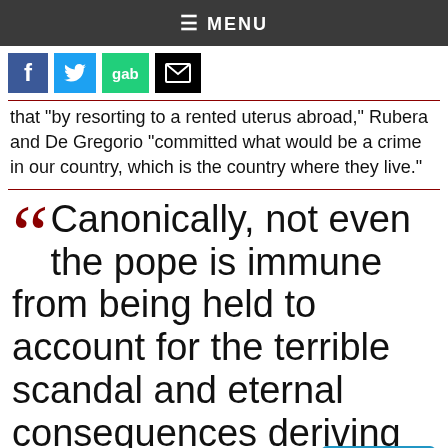≡ MENU
[Figure (other): Social media share buttons: Facebook (blue), Twitter (blue bird), Gab (green), Email/mail (black envelope)]
that "by resorting to a rented uterus abroad," Rubera and De Gregorio "committed what would be a crime in our country, which is the country where they live."
Canonically, not even the pope is immune from being held to account for the terrible scandal and eternal consequences deriving from his private opinion.